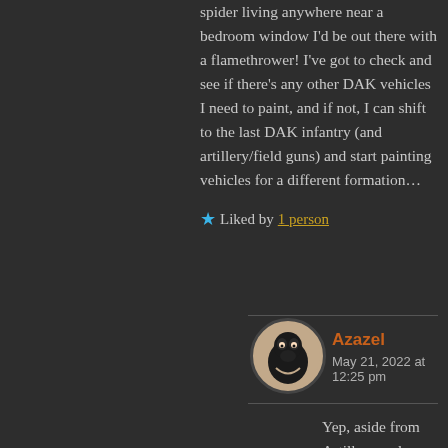spider living anywhere near a bedroom window I'd be out there with a flamethrower! I've got to check and see if there's any other DAK vehicles I need to paint, and if not, I can shift to the last DAK infantry (and artillery/field guns) and start painting vehicles for a different formation...
★ Liked by 1 person
Reply
Azazel
May 21, 2022 at 12:25 pm
Yep, aside from Artillery and getting into the Fallschirmjaeger, it's